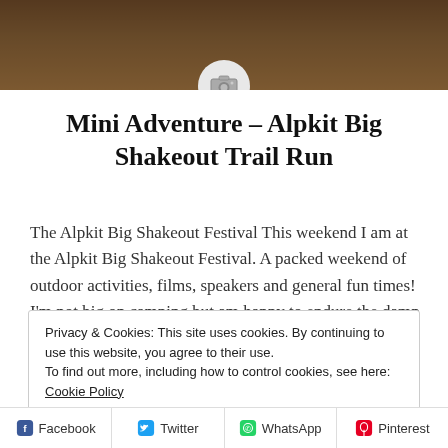[Figure (photo): Header photo showing two people in an outdoor/moorland setting, with a camera placeholder icon overlay at the bottom center]
Mini Adventure – Alpkit Big Shakeout Trail Run
The Alpkit Big Shakeout Festival This weekend I am at the Alpkit Big Shakeout Festival. A packed weekend of outdoor activities, films, speakers and general fun times! I'm not big on camping but am happy to endure the damp etc for fun times with friends. Having been reasonably sensible on the
Privacy & Cookies: This site uses cookies. By continuing to use this website, you agree to their use.
To find out more, including how to control cookies, see here: Cookie Policy
Close and accept
Facebook  Twitter  WhatsApp  Pinterest